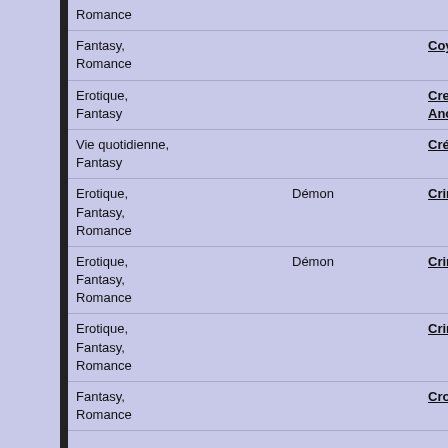| Genre | Theme | Title | Author |
| --- | --- | --- | --- |
| Romance |  |  |  |
| Fantasy, Romance |  | Coyote | ZARIYA Rann |
| Erotique, Fantasy |  | Creature Girls: A Field Journal in Another World | KAKERU |
| Vie quotidienne, Fantasy |  | Créatures fantastiques | KAZIYA |
| Erotique, Fantasy, Romance | Démon | Crimson Spell | YAMANE Aya |
| Erotique, Fantasy, Romance | Démon | Crimson Spell | YAMANE Aya |
| Erotique, Fantasy, Romance |  | Crimson Spell | YAMANE Aya |
| Fantasy, Romance |  | Cross-Dressing Villainess Cecilia | AKIZAKURA / AKIYAMA Shi |